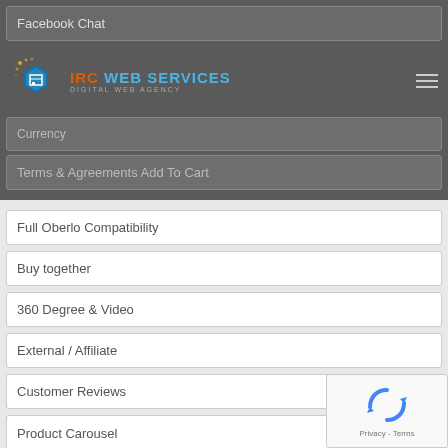Facebook Chat
[Figure (logo): IRC Web Services logo with blue hexagonal box icon and text 'IRC WEB SERVICES / DIGITAL WEB AGENCY', with hamburger menu icon on the right]
Currency
Terms & Agreements Add To Cart
Full Oberlo Compatibility
Buy together
360 Degree & Video
External / Affiliate
Customer Reviews
Product Carousel
HTML5 & CSS3 & Sass CSS
Social networking
[Figure (logo): Google reCAPTCHA badge overlay in bottom right corner showing 'Privacy - Terms']